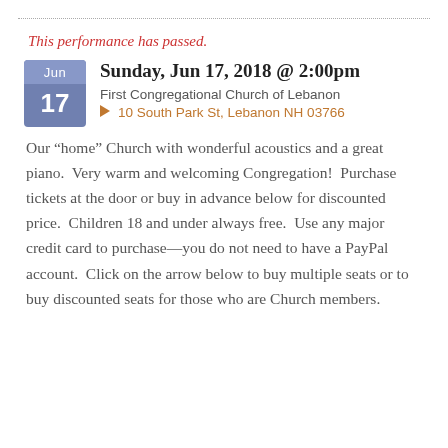This performance has passed.
Sunday, Jun 17, 2018 @ 2:00pm
First Congregational Church of Lebanon
10 South Park St, Lebanon NH 03766
Our “home” Church with wonderful acoustics and a great piano.  Very warm and welcoming Congregation!  Purchase tickets at the door or buy in advance below for discounted price.  Children 18 and under always free.  Use any major credit card to purchase—you do not need to have a PayPal account.  Click on the arrow below to buy multiple seats or to buy discounted seats for those who are Church members.